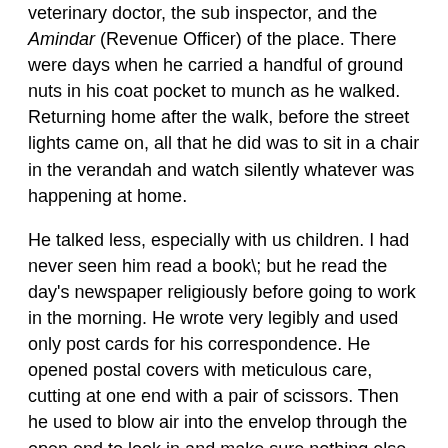veterinary doctor, the sub inspector, and the Amindar (Revenue Officer) of the place. There were days when he carried a handful of ground nuts in his coat pocket to munch as he walked. Returning home after the walk, before the street lights came on, all that he did was to sit in a chair in the verandah and watch silently whatever was happening at home.
He talked less, especially with us children. I had never seen him read a book\; but he read the day's newspaper religiously before going to work in the morning. He wrote very legibly and used only post cards for his correspondence. He opened postal covers with meticulous care, cutting at one end with a pair of scissors. Then he used to blow air into the envelop through the open end to look in and make sure nothing else remained inside after the letter had been removed.
He never went to see movies and hated film music. In fact, he never appreciated or understood any music or art of any sort. He was not a much travelled man. I wonder whether he had ever gone outside the State, even as far as Madras. His only transport was a bicycle. He bicycled in the morning to see his friend even on the day he passed away.